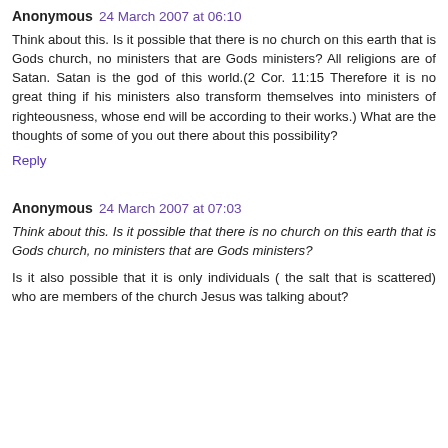Anonymous 24 March 2007 at 06:10
Think about this. Is it possible that there is no church on this earth that is Gods church, no ministers that are Gods ministers? All religions are of Satan. Satan is the god of this world.(2 Cor. 11:15 Therefore it is no great thing if his ministers also transform themselves into ministers of righteousness, whose end will be according to their works.) What are the thoughts of some of you out there about this possibility?
Reply
Anonymous 24 March 2007 at 07:03
Think about this. Is it possible that there is no church on this earth that is Gods church, no ministers that are Gods ministers?
Is it also possible that it is only individuals ( the salt that is scattered) who are members of the church Jesus was talking about?